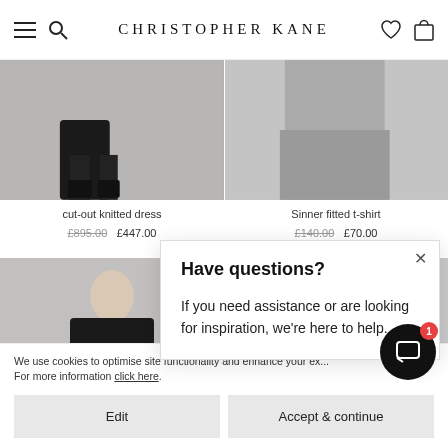CHRISTOPHER KANE
[Figure (photo): Product photo - cut-out knitted dress, showing lower portion of model wearing dark shoes]
[Figure (photo): Product photo - Sinner fitted t-shirt, showing lower portion of model in grey trousers]
cut-out knitted dress £895.00 £447.00
Sinner fitted t-shirt £140.00 £70.00
[Figure (photo): Product photo of model wearing black t-shirt dress with LIV text]
[Figure (photo): Product photo of model with glasses]
Have questions? If you need assistance or are looking for inspiration, we're here to help.
We use cookies to optimise site functionality and enhance your ex... For more information click here.
Edit
Accept & continue